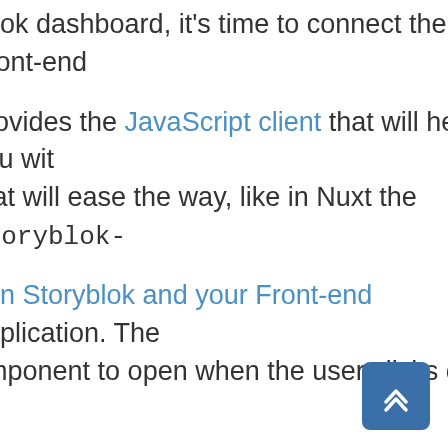rblok dashboard, it's time to connect the Front-end
provides the JavaScript client that will help you with that will ease the way, like in Nuxt the storyblok-
een Storyblok and your Front-end application. The component to open when the user clicks on it.
to connect your Front-end project.
m, don't worry there are many other tutorials on th ge you to contact them, and you will help many mo